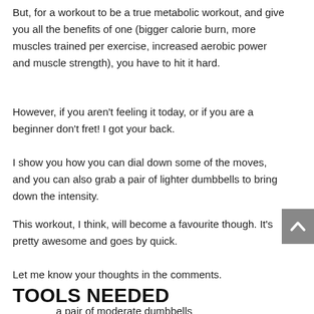But, for a workout to be a true metabolic workout, and give you all the benefits of one (bigger calorie burn, more muscles trained per exercise, increased aerobic power and muscle strength), you have to hit it hard.
However, if you aren't feeling it today, or if you are a beginner don't fret! I got your back.
I show you how you can dial down some of the moves, and you can also grab a pair of lighter dumbbells to bring down the intensity.
This workout, I think, will become a favourite though. It's pretty awesome and goes by quick.
Let me know your thoughts in the comments.
TOOLS NEEDED
a pair of moderate dumbbells